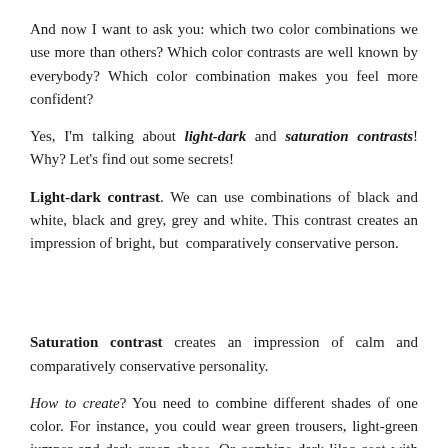And now I want to ask you: which two color combinations we use more than others? Which color contrasts are well known by everybody? Which color combination makes you feel more confident?
Yes, I'm talking about light-dark and saturation contrasts! Why? Let's find out some secrets!
Light-dark contrast. We can use combinations of black and white, black and grey, grey and white. This contrast creates an impression of bright, but comparatively conservative person.
Saturation contrast creates an impression of calm and comparatively conservative personality.
How to create? You need to combine different shades of one color. For instance, you could wear green trousers, light-green jumper and dark green shoes. Or combine dark-lilac coat with light-lilac scarf.